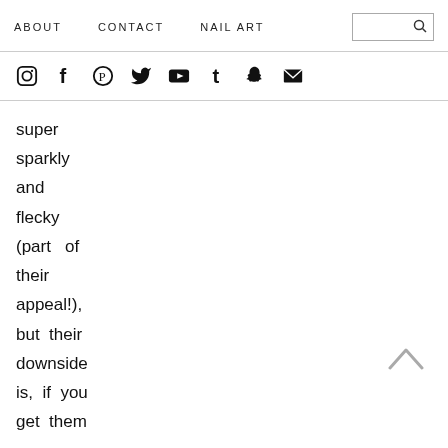ABOUT  CONTACT  NAIL ART
[Figure (infographic): Social media icons row: Instagram, Facebook, Pinterest, Twitter, YouTube, Tumblr, Snapchat, Email]
super sparkly and flecky (part of their appeal!), but their downside is, if you get them on your skin, those sparkles can be